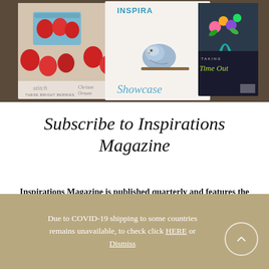[Figure (photo): Photo collage of Inspirations Magazine covers including one with strawberries, one with a bird titled 'Showcase', and one titled 'Taking Time Out'. Text on covers includes 'stitch', 'Christmas Ornaments', 'THESE BRIGHT BERRIES'.]
Subscribe to Inspirations Magazine
Inspirations Magazine is published quarterly and features the world's most beautiful needlework projects, showcased with gorgeous photography and complete with step-by-step instructions, detailed techniques and full sized tear-out
Due to COVID-19 shipping to some countries remains unavailable, to check click HERE or Dismiss